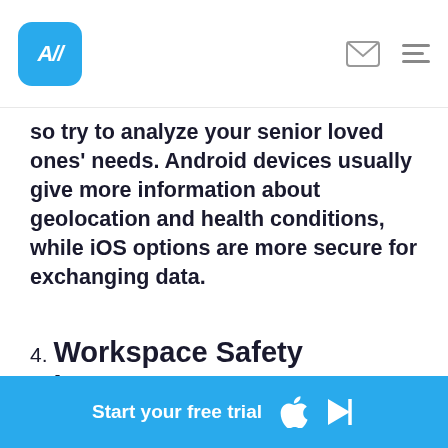A// (logo)
so try to analyze your senior loved ones' needs. Android devices usually give more information about geolocation and health conditions, while iOS options are more secure for exchanging data.
4. Workspace Safety Increases
That may be unexpected but just think about it. We all need to keep track of our safety, and employees
Start your free trial